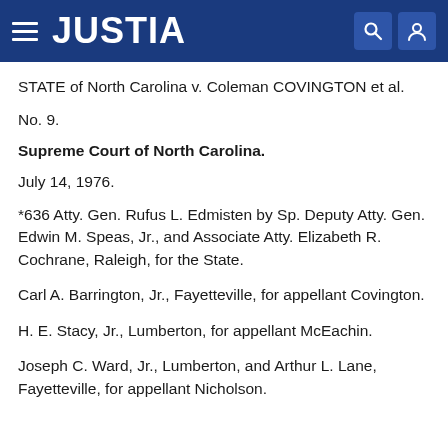JUSTIA
STATE of North Carolina v. Coleman COVINGTON et al.
No. 9.
Supreme Court of North Carolina.
July 14, 1976.
*636 Atty. Gen. Rufus L. Edmisten by Sp. Deputy Atty. Gen. Edwin M. Speas, Jr., and Associate Atty. Elizabeth R. Cochrane, Raleigh, for the State.
Carl A. Barrington, Jr., Fayetteville, for appellant Covington.
H. E. Stacy, Jr., Lumberton, for appellant McEachin.
Joseph C. Ward, Jr., Lumberton, and Arthur L. Lane, Fayetteville, for appellant Nicholson.